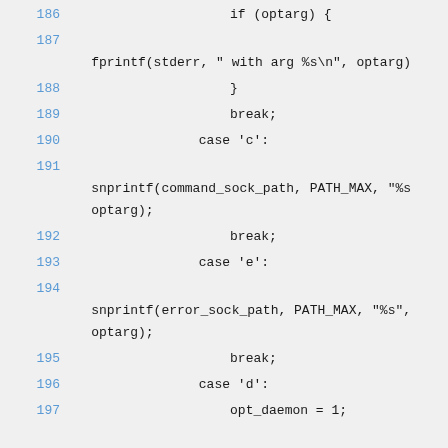186    if (optarg) {
187    fprintf(stderr, " with arg %s\n", optarg)
188    }
189    break;
190    case 'c':
191    snprintf(command_sock_path, PATH_MAX, "%s  optarg);
192    break;
193    case 'e':
194    snprintf(error_sock_path, PATH_MAX, "%s",  optarg);
195    break;
196    case 'd':
197    opt_daemon = 1;